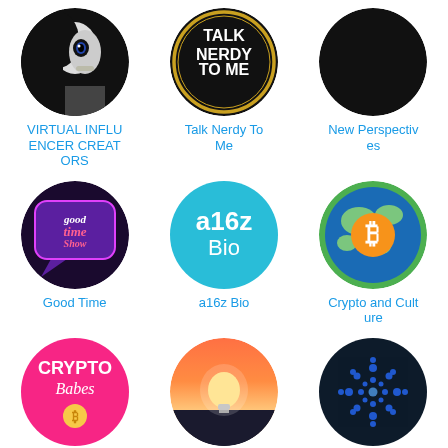[Figure (logo): Circular black and white photo of a virtual influencer doll-like female figure with finger to lips]
VIRTUAL INFLUENCER CREATORS
[Figure (logo): Black circle with gold border and white text reading TALK NERDY TO ME]
Talk Nerdy To Me
[Figure (logo): Black rounded square shape]
New Perspectives
[Figure (logo): Purple speech bubble with Good Time Show logo text]
Good Time
[Figure (logo): Cyan rounded square with a16z Bio text in white]
a16z Bio
[Figure (logo): Globe with a Bitcoin B symbol in the center]
Crypto and Culture
[Figure (logo): Pink rounded square with CRYPTO Babes text and coin icon]
Crypto babes
[Figure (photo): Circular photo of a light bulb at sunset horizon]
Sapphire Storie
[Figure (logo): Dark navy rounded square with Cardano dot pattern logo]
Cardano and th